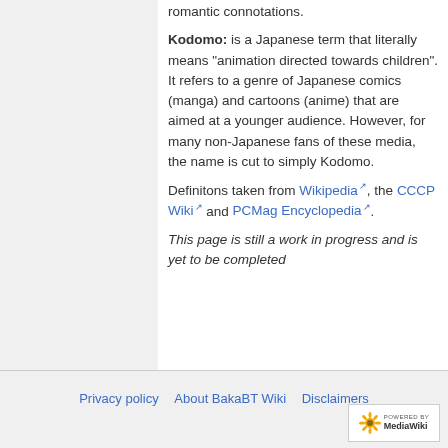romantic connotations.
Kodomo: is a Japanese term that literally means "animation directed towards children". It refers to a genre of Japanese comics (manga) and cartoons (anime) that are aimed at a younger audience. However, for many non-Japanese fans of these media, the name is cut to simply Kodomo.
Definitons taken from Wikipedia, the CCCP Wiki and PCMag Encyclopedia.
This page is still a work in progress and is yet to be completed
Privacy policy   About BakaBT Wiki   Disclaimers